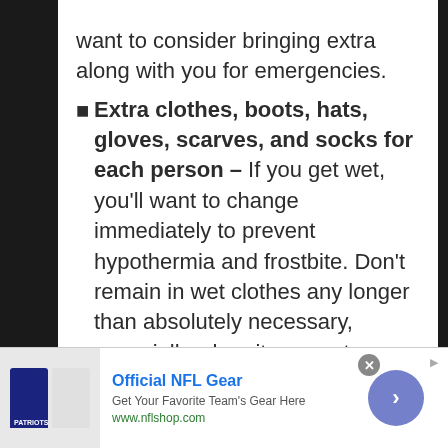want to consider bringing extra along with you for emergencies.
Extra clothes, boots, hats, gloves, scarves, and socks for each person – If you get wet, you'll want to change immediately to prevent hypothermia and frostbite. Don't remain in wet clothes any longer than absolutely necessary, especially when it comes to your fingers and toes.
Water and food – You're going to want to bring some emergency rations for a couple of days. Water is especially
[Figure (screenshot): Advertisement banner for Official NFL Gear from nflshop.com with team jersey images and a navigation arrow button]